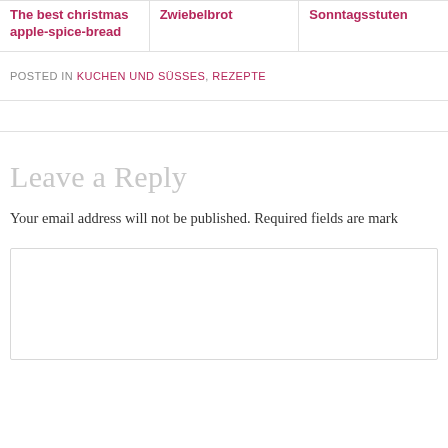The best christmas apple-spice-bread
Zwiebelbrot
Sonntagsstuten
POSTED IN KUCHEN UND SÜSSES, REZEPTE
Leave a Reply
Your email address will not be published. Required fields are mark